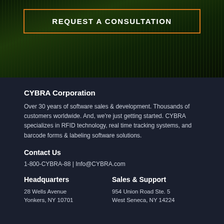[Figure (other): Dark green wheat/grass field background with orange-bordered button reading REQUEST A CONSULTATION]
CYBRA Corporation
Over 30 years of software sales & development. Thousands of customers worldwide. And, we're just getting started. CYBRA specializes in RFID technology, real time tracking systems, and barcode forms & labeling software solutions.
Contact Us
1-800-CYBRA-88 | Info@CYBRA.com
Headquarters
28 Wells Avenue
Yonkers, NY 10701
Sales & Support
954 Union Road Ste. 5
West Seneca, NY 14224